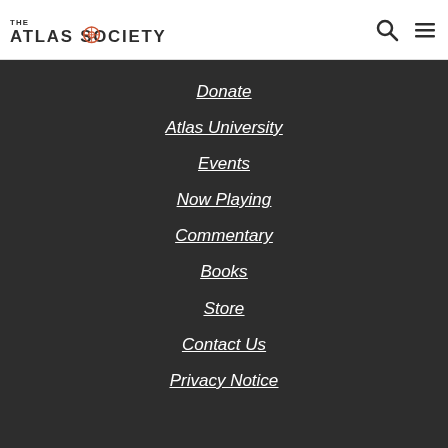THE ATLAS SOCIETY
Donate
Atlas University
Events
Now Playing
Commentary
Books
Store
Contact Us
Privacy Notice